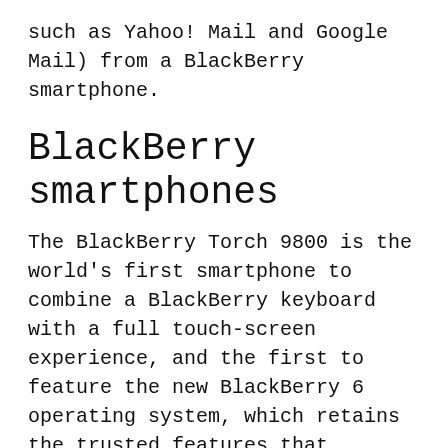such as Yahoo! Mail and Google Mail) from a BlackBerry smartphone.
BlackBerry smartphones
The BlackBerry Torch 9800 is the world's first smartphone to combine a BlackBerry keyboard with a full touch-screen experience, and the first to feature the new BlackBerry 6 operating system, which retains the trusted features that distinguish the BlackBerry brand while delivering a fresh and engaging experience that is both powerful and easy to use. The BlackBerry Torch features an exciting combination of a large touch screen, optical trackpad and backlit slide-out BlackBerry keyboard. It offers support for high-speed 3G (UMTS/HSDPA) networks around the world, includes the latest generation in WiFi (b/g/n) connectivity and features built-in GPS for location-based applications.